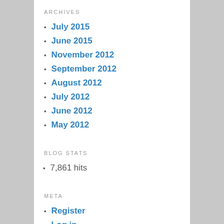ARCHIVES
July 2015
June 2015
November 2012
September 2012
August 2012
July 2012
June 2012
May 2012
BLOG STATS
7,861 hits
META
Register
Log in
Entries feed
Comments feed
WordPress.com